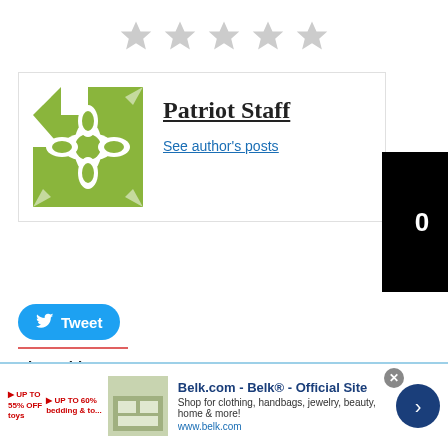[Figure (other): Five gray star rating icons in a row]
[Figure (illustration): Green geometric quilt pattern avatar for Patriot Staff author]
Patriot Staff
See author's posts
[Figure (other): Black counter box showing number 0]
[Figure (screenshot): Tweet button with Twitter bird icon]
Share this:
[Figure (screenshot): Twitter, Facebook, and Print share buttons]
[Figure (screenshot): Belk.com advertisement banner: Belk® - Official Site. Shop for clothing, handbags, jewelry, beauty, home & more! www.belk.com]